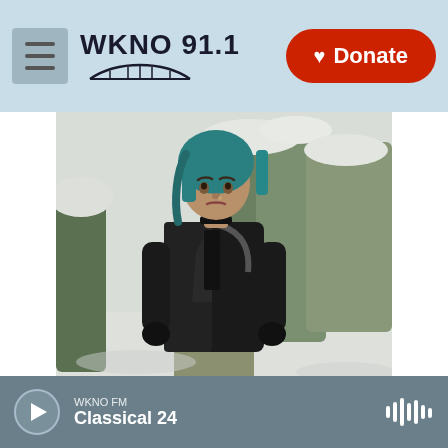WKNO 91.1  Donate
[Figure (photo): Young woman with teal/blue hair wearing a black leather jacket standing outdoors in a snowy setting with snow-covered trees in the background]
Jackie Molloy For KHN
Hofstra University student Divya Singh found herself beset by a double whammy of bills from two of the costliest kinds of institutions in America – colleges and hospitals. After experiencing anxiety when her family had trouble coming up with the money for her tuition, she sought counseling and ended up with a weeklong stay in a psychiatric hospital – and a
WKNO FM  Classical 24